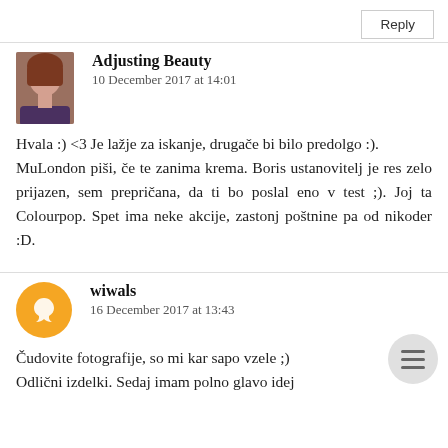Reply
Adjusting Beauty
10 December 2017 at 14:01
Hvala :) <3 Je lažje za iskanje, drugače bi bilo predolgo :).
MuLondon piši, če te zanima krema. Boris ustanovitelj je res zelo prijazen, sem prepričana, da ti bo poslal eno v test ;). Joj ta Colourpop. Spet ima neke akcije, zastonj poštnine pa od nikoder :D.
wiwals
16 December 2017 at 13:43
Čudovite fotografije, so mi kar sapo vzele ;) Odlični izdelki. Sedaj imam polno glavo idej